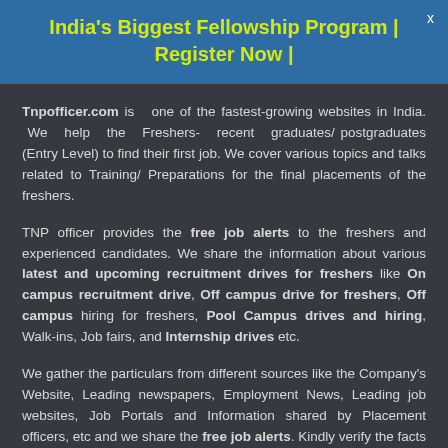India's Biggest Fellowship Program | Register Now |
Tnpofficer.com is one of the fastest-growing websites in India. We help the Freshers- recent graduates/postgraduates (Entry Level) to find their first job. We cover various topics and talks related to Training/ Preparations for the final placements of the freshers.
TNP officer provides the free job alerts to the freshers and experienced candidates. We share the information about various latest and upcoming recruitment drives for freshers like On campus recruitment drive, Off campus drive for freshers, Off campus hiring for freshers, Pool Campus drives and hiring, Walk-ins, Job fairs, and Internship drives etc.
We gather the particulars from different sources like the Company's Website, Leading newspapers, Employment News, Leading job websites, Job Portals and Information shared by Placement officers, etc and we share the free job alerts. Kindly verify the facts before applying. TNP Officer is